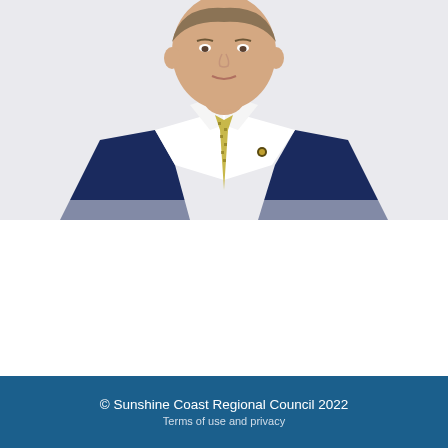[Figure (photo): Portrait photo of a man in a navy blue suit with a yellow patterned tie and a small pin on his lapel, photographed from the chest up against a light grey background.]
© Sunshine Coast Regional Council 2022
Terms of use and privacy